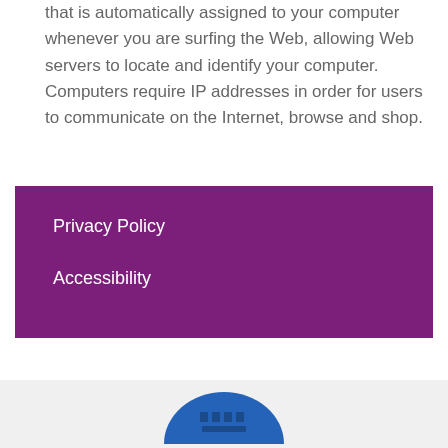that is automatically assigned to your computer whenever you are surfing the Web, allowing Web servers to locate and identify your computer. Computers require IP addresses in order for users to communicate on the Internet, browse and shop.
Privacy Policy
Accessibility
[Figure (illustration): Blue circular icon with building/teeth graphic at bottom of page]